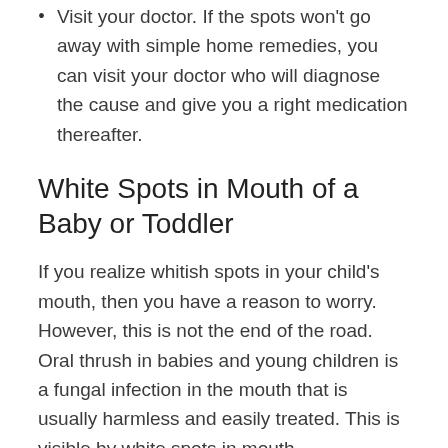Visit your doctor. If the spots won't go away with simple home remedies, you can visit your doctor who will diagnose the cause and give you a right medication thereafter.
White Spots in Mouth of a Baby or Toddler
If you realize whitish spots in your child's mouth, then you have a reason to worry. However, this is not the end of the road. Oral thrush in babies and young children is a fungal infection in the mouth that is usually harmless and easily treated. This is visible by white spots in mouth.
Signs of oral thrush in babies